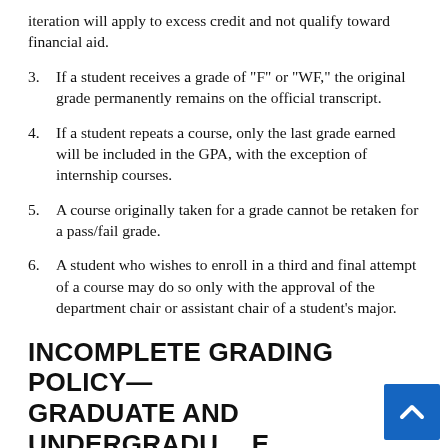iteration will apply to excess credit and not qualify toward financial aid.
3. If a student receives a grade of "F" or "WF," the original grade permanently remains on the official transcript.
4. If a student repeats a course, only the last grade earned will be included in the GPA, with the exception of internship courses.
5. A course originally taken for a grade cannot be retaken for a pass/fail grade.
6. A student who wishes to enroll in a third and final attempt of a course may do so only with the approval of the department chair or assistant chair of a student’s major.
INCOMPLETE GRADING POLICY—GRADUATE AND UNDERGRADUATE COURSEWORK